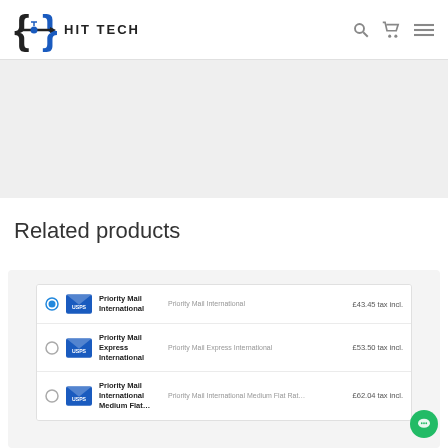HIT TECH
Related products
|  |  | Name | Description | Price |
| --- | --- | --- | --- | --- |
| ● | [USPS] | Priority Mail International | Priority Mail International | £43.45 tax incl. |
| ○ | [USPS] | Priority Mail Express International | Priority Mail Express International | £53.50 tax incl. |
| ○ | [USPS] | Priority Mail International Medium Flat… | Priority Mail International Medium Flat Rat… | £62.04 tax incl. |